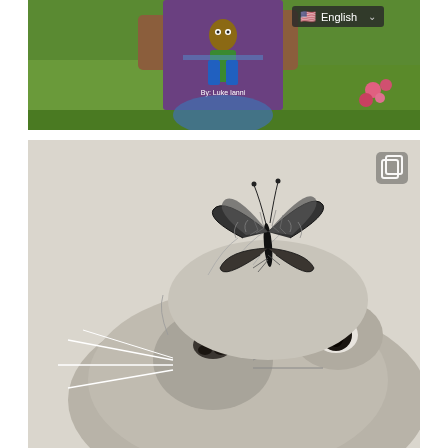[Figure (photo): A child holding up a book with a cartoon boy character on the cover, text reading 'By: Luke Ianni', outdoors on green grass with pink flowers in background. A language selector bar shows 'English' with a US flag in the top right corner.]
[Figure (illustration): A detailed pencil/graphite drawing of a cat looking upward with a monarch butterfly perched on its nose/face. The drawing is highly realistic in black and white/grayscale. A copy icon is visible in the top right corner of the image.]